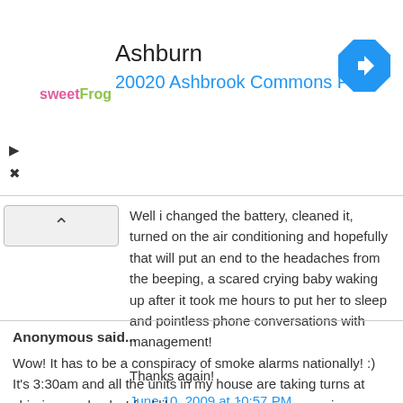[Figure (other): Ad banner with sweetFrog logo, 'Ashburn' title, '20020 Ashbrook Commons Pla...' address in blue, and blue diamond navigation icon]
Well i changed the battery, cleaned it, turned on the air conditioning and hopefully that will put an end to the headaches from the beeping, a scared crying baby waking up after it took me hours to put her to sleep and pointless phone conversations with management!
Thanks again!
June 10, 2009 at 10:57 PM
Anonymous said...
Wow! It has to be a conspiracy of smoke alarms nationally! :) It's 3:30am and all the units in my house are taking turns at chirping randomly. I feel like a mouse in a maze, running around trying to locate the unit that's beeping. Just when I think I've isolated it... "beep" (off in